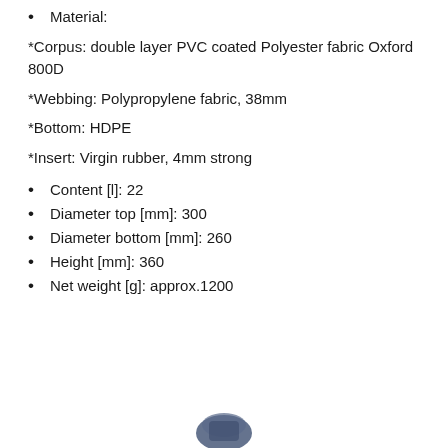Material:
*Corpus: double layer PVC coated Polyester fabric Oxford 800D
*Webbing: Polypropylene fabric, 38mm
*Bottom: HDPE
*Insert: Virgin rubber, 4mm strong
Content [l]: 22
Diameter top [mm]: 300
Diameter bottom [mm]: 260
Height [mm]: 360
Net weight [g]: approx.1200
[Figure (photo): Partial view of a product (bucket/bag) at the bottom of the page]